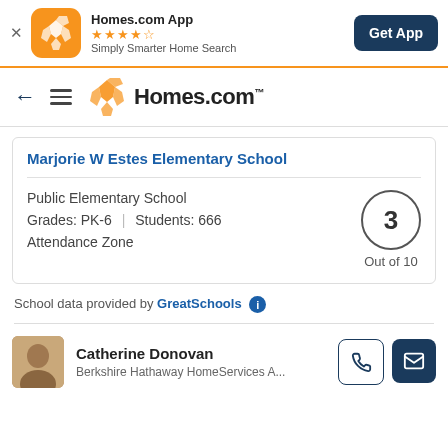[Figure (screenshot): App banner with Homes.com App icon, 4.5 star rating, subtitle 'Simply Smarter Home Search', and a 'Get App' button]
[Figure (logo): Homes.com navigation bar with back arrow, hamburger menu, and Homes.com logo]
Marjorie W Estes Elementary School
Public Elementary School
Grades: PK-6  |  Students: 666
Attendance Zone
3 Out of 10
School data provided by GreatSchools
Catherine Donovan
Berkshire Hathaway HomeServices A...